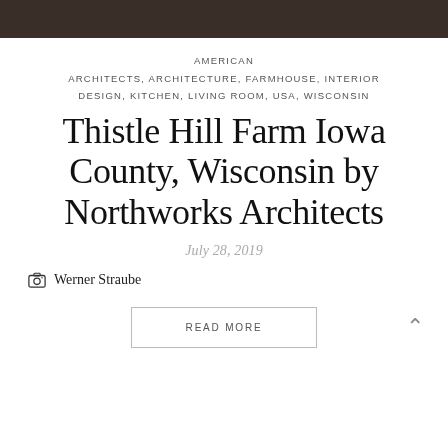[Figure (photo): Dark wood/architectural image strip at top of page]
AMERICAN ARCHITECTS, ARCHITECTURE, FARMHOUSE, INTERIOR DESIGN, KITCHEN, LIVING ROOM, USA, WISCONSIN
Thistle Hill Farm Iowa County, Wisconsin by Northworks Architects
July 28, 2019
Werner Straube
READ MORE